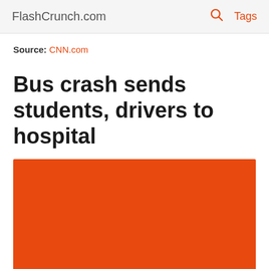FlashCrunch.com  🔍  Tags
Source: CNN.com
Bus crash sends students, drivers to hospital
[Figure (photo): Orange/red placeholder image block for article thumbnail]
CNN.com | Jul 22, 2022 21:42:23 UTC